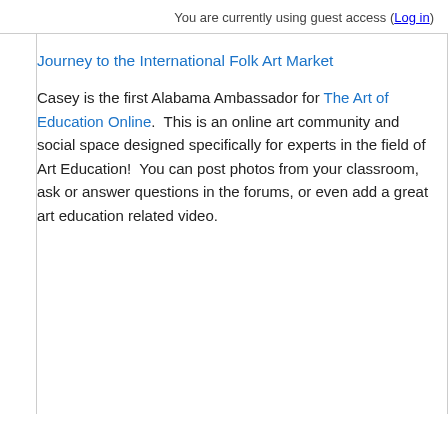You are currently using guest access (Log in)
Journey to the International Folk Art Market
Casey is the first Alabama Ambassador for The Art of Education Online.  This is an online art community and social space designed specifically for experts in the field of Art Education!  You can post photos from your classroom, ask or answer questions in the forums, or even add a great art education related video.